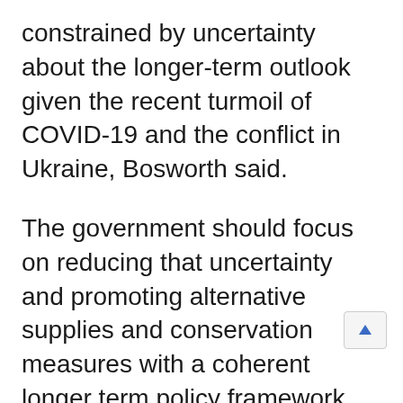constrained by uncertainty about the longer-term outlook given the recent turmoil of COVID-19 and the conflict in Ukraine, Bosworth said.
The government should focus on reducing that uncertainty and promoting alternative supplies and conservation measures with a coherent longer term policy framework, Bosworth said.
The energy market will remain very tight for some time and winter demand in Europe should be a big concern, Bosworth said.
Dean Baker, senior economist at the Center for